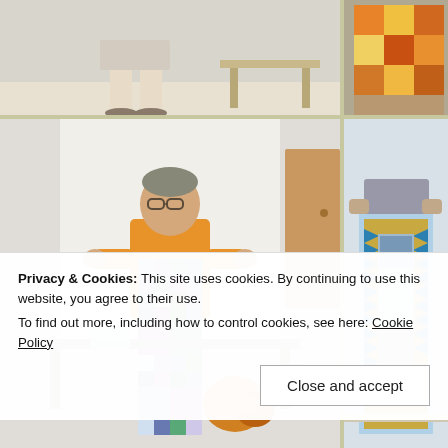[Figure (photo): Top left photo: person standing in a room, legs/feet visible, quilt or fabric items in background]
[Figure (photo): Top right photo: colorful quilt hanging or draped, orange/yellow/multicolor fabrics visible]
[Figure (photo): Bottom left photo: person holding up a long patchwork quilt/table runner with blue, purple, green, and teal floral and checkerboard fabrics in a community room setting]
[Figure (photo): Bottom right photo: person partially visible holding a blue and teal geometric quilt with triangles and squares pattern]
Privacy & Cookies: This site uses cookies. By continuing to use this website, you agree to their use.
To find out more, including how to control cookies, see here: Cookie Policy
Close and accept